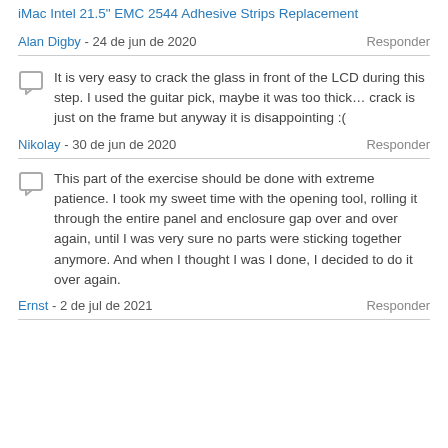iMac Intel 21.5" EMC 2544 Adhesive Strips Replacement
Alan Digby - 24 de jun de 2020   Responder
It is very easy to crack the glass in front of the LCD during this step. I used the guitar pick, maybe it was too thick… crack is just on the frame but anyway it is disappointing :(
Nikolay - 30 de jun de 2020   Responder
This part of the exercise should be done with extreme patience. I took my sweet time with the opening tool, rolling it through the entire panel and enclosure gap over and over again, until I was very sure no parts were sticking together anymore. And when I thought I was I done, I decided to do it over again.
Ernst - 2 de jul de 2021   Responder